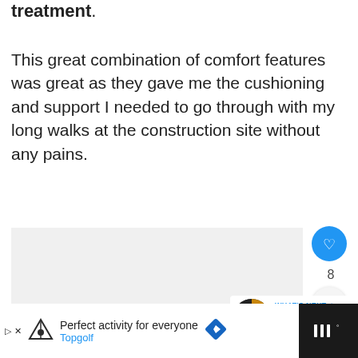treatment.
This great combination of comfort features was great as they gave me the cushioning and support I needed to go through with my long walks at the construction site without any pains.
[Figure (screenshot): Social media like button (heart icon, blue circle) with count 8, and a share button below it. A 'What's Next' widget showing a work boot thumbnail and text 'The 5 Best Work Boots...']
[Figure (screenshot): Advertisement bar at bottom: Topgolf logo with text 'Perfect activity for everyone' and 'Topgolf' in blue, with a blue diamond navigation icon. Black section on right with pause icon.]